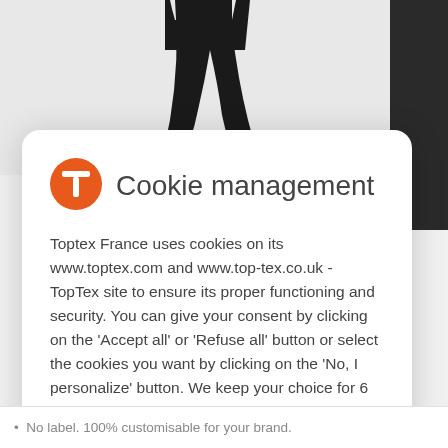[Figure (photo): Partial image of a person wearing black pants/joggers with white sneakers, cropped at mid-torso level, on white background]
Cookie management
Toptex France uses cookies on its www.toptex.com and www.top-tex.co.uk - TopTex site to ensure its proper functioning and security. You can give your consent by clicking on the 'Accept all' or 'Refuse all' button or select the cookies you want by clicking on the 'No, I personalize' button. We keep your choice for 6 months. You can change your preferences at any time by consulting our cookie manager. For more information, please see our cookies policy.
Accept all
Reject all
No, personalize
No label. 100% customisable for your brand.